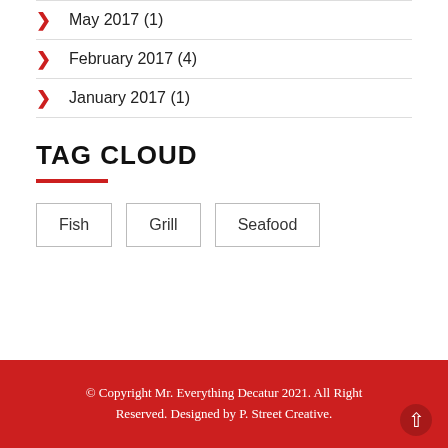May 2017 (1)
February 2017 (4)
January 2017 (1)
TAG CLOUD
Fish  Grill  Seafood
© Copyright Mr. Everything Decatur 2021. All Right Reserved. Designed by P. Street Creative.